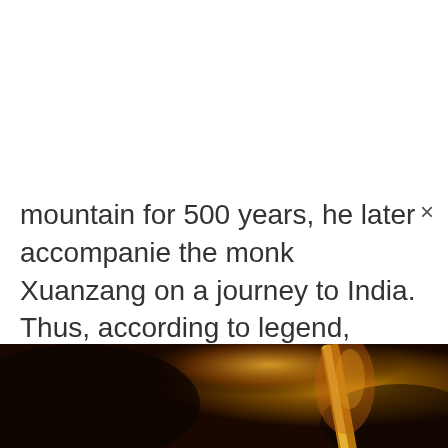mountain for 500 years, he later accompanied the monk Xuanzang on a journey to India. Thus, according to legend, Buddhism is brought to ancient China. This much beloved story, is as much a part of Asian culture as The Iliad and The Odyssey or The Wizard of Oz are … Read more
[Figure (photo): Dark atmospheric image with golden/fiery glowing element, possibly a golden staff or weapon emerging from dark smoky background]